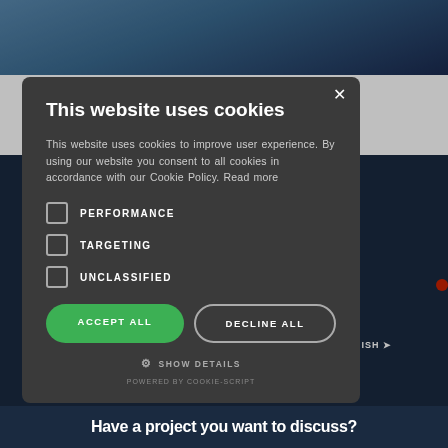[Figure (screenshot): Background website with navigation, thumbnails, and dark blue section visible behind a cookie consent modal dialog]
This website uses cookies
This website uses cookies to improve user experience. By using our website you consent to all cookies in accordance with our Cookie Policy. Read more
PERFORMANCE
TARGETING
UNCLASSIFIED
ACCEPT ALL
DECLINE ALL
⚙ SHOW DETAILS
POWERED BY COOKIE-SCRIPT
Have a project you want to discuss?